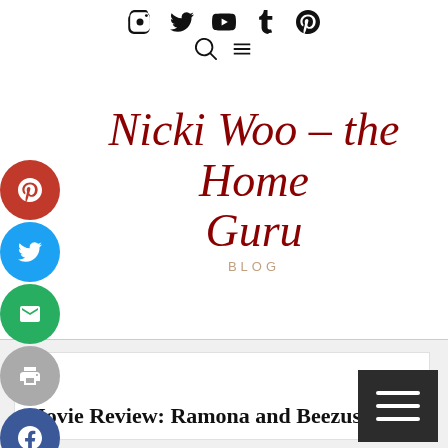Social media icons: Instagram, Twitter, YouTube, Tumblr, Pinterest; Search and menu icons
Nicki Woo – the Home Guru
BLOG
[Figure (infographic): Side social share buttons: Pinterest (red), Twitter (blue), Email (green), Print (gray), Facebook (dark blue)]
[Figure (infographic): Dark hamburger menu button with three white horizontal lines]
Movie Review: Ramona and Beezus